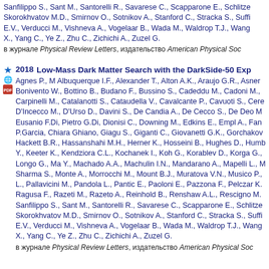Sanfilippo S., Sant M., Santorelli R., Savarese C., Scapparone E., Schlitze... Skorokhvatov M.D., Smirnov O., Sotnikov A., Stanford C., Stracka S., Suffi... E.V., Verducci M., Vishneva A., Vogelaar B., Wada M., Waldrop T.J., Wang X., Yang C., Ye Z., Zhu C., Zichichi A., Zuzel G.
в журнале Physical Review Letters, издательство American Physical Soc...
2018 Low-Mass Dark Matter Search with the DarkSide-50 Exp...
Agnes P., M Albuquerque I.F., Alexander T., Alton A.K., Araujo G.R., Asner... Bonivento W., Bottino B., Budano F., Bussino S., Cadeddu M., Cadoni M.,... Carpinelli M., Catalanotti S., Cataudella V., Cavalcante P., Cavuoti S., Cere... D'Incecco M., D'Urso D., Davini S., De Candia A., De Cecco S., De Deo M... Eusanio F.Di, Pietro G.Di, Dionisi C., Downing M., Edkins E., Empl A., Fan... P.Garcia, Chiara Ghiano, Giagu S., Giganti C., Giovanetti G.K., Gorchakov... Hackett B.R., Hassanshahi M.H., Herner K., Hosseini B., Hughes D., Humb... Y., Keeter K., Kendziora C.L., Kochanek I., Koh G., Korablev D., Korga G.,... Longo G., Ma Y., Machado A.A., Machulin I.N., Mandarano A., Mapelli L., M... Sharma S., Monte A., Morrocchi M., Mount B.J., Muratova V.N., Musico P.,... L., Pallavicini M., Pandola L., Pantic E., Paoloni E., Pazzona F., Pelczar K.,... Ragusa F., Razeti M., Razeto A., Reinhold B., Renshaw A.L., Rescigno M.,... Sanfilippo S., Sant M., Santorelli R., Savarese C., Scapparone E., Schlitze... Skorokhvatov M.D., Smirnov O., Sotnikov A., Stanford C., Stracka S., Suffi... E.V., Verducci M., Vishneva A., Vogelaar B., Wada M., Waldrop T.J., Wang X., Yang C., Ye Z., Zhu C., Zichichi A., Zuzel G.
в журнале Physical Review Letters, издательство American Physical Soc...